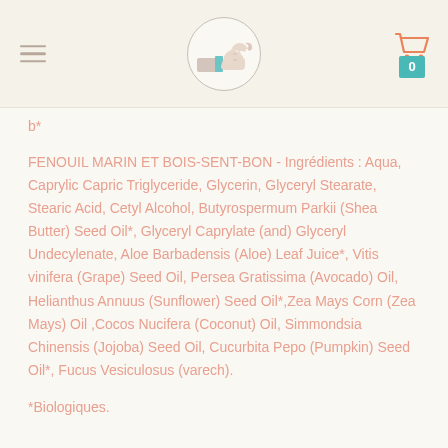Navigation header with hamburger menu, logo, and cart icon showing 0
b*
FENOUIL MARIN ET BOIS-SENT-BON - Ingrédients : Aqua, Caprylic Capric Triglyceride, Glycerin, Glyceryl Stearate, Stearic Acid, Cetyl Alcohol, Butyrospermum Parkii (Shea Butter) Seed Oil*, Glyceryl Caprylate (and) Glyceryl Undecylenate, Aloe Barbadensis (Aloe) Leaf Juice*, Vitis vinifera (Grape) Seed Oil, Persea Gratissima (Avocado) Oil, Helianthus Annuus (Sunflower) Seed Oil*,Zea Mays Corn (Zea Mays) Oil ,Cocos Nucifera (Coconut) Oil, Simmondsia Chinensis (Jojoba) Seed Oil, Cucurbita Pepo (Pumpkin) Seed Oil*, Fucus Vesiculosus (varech).
*Biologiques.